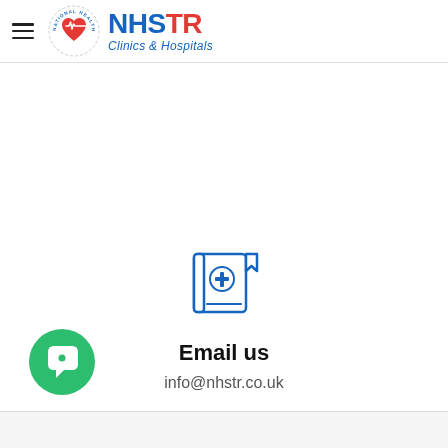[Figure (logo): NHSTR National Health Services Clinics & Hospitals logo with hamburger menu icon]
[Figure (illustration): Medical book/record icon with a cross symbol and bookmark, drawn in blue outline style]
Email us
info@nhstr.co.uk
[Figure (illustration): Green circular chat bubble button in bottom left corner]